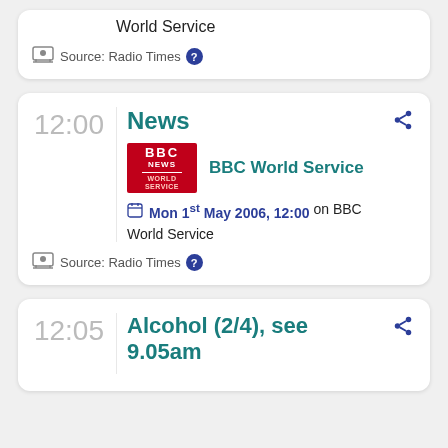World Service
Source: Radio Times
12:00 News
BBC World Service
Mon 1st May 2006, 12:00 on BBC World Service
Source: Radio Times
12:05 Alcohol (2/4), see 9.05am